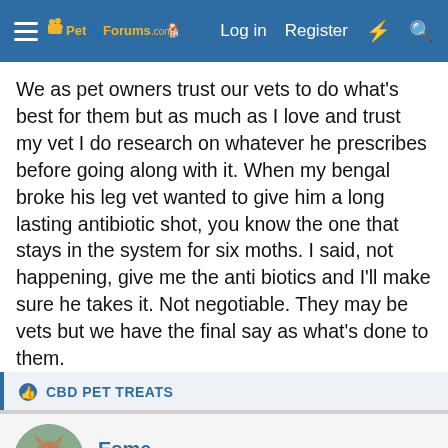Pet Forums — Log in  Register
We as pet owners trust our vets to do what's best for them but as much as I love and trust my vet I do research on whatever he prescribes before going along with it. When my bengal broke his leg vet wanted to give him a long lasting antibiotic shot, you know the one that stays in the system for six moths. I said, not happening, give me the anti biotics and I'll make sure he takes it. Not negotiable. They may be vets but we have the final say as what's done to them.
CBD PET TREATS
Esme
New member